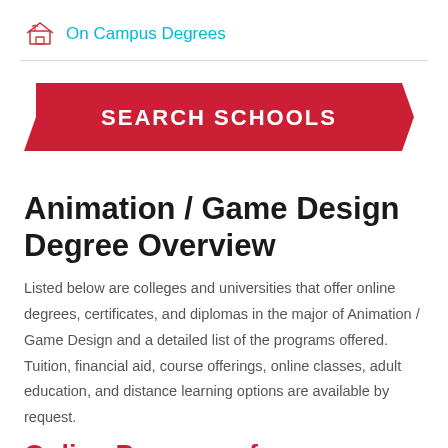On Campus Degrees
[Figure (other): Red parallelogram/chevron banner button with white bold text reading SEARCH SCHOOLS]
Animation / Game Design Degree Overview
Listed below are colleges and universities that offer online degrees, certificates, and diplomas in the major of Animation / Game Design and a detailed list of the programs offered. Tuition, financial aid, course offerings, online classes, adult education, and distance learning options are available by request.
Online Programs for Computers...